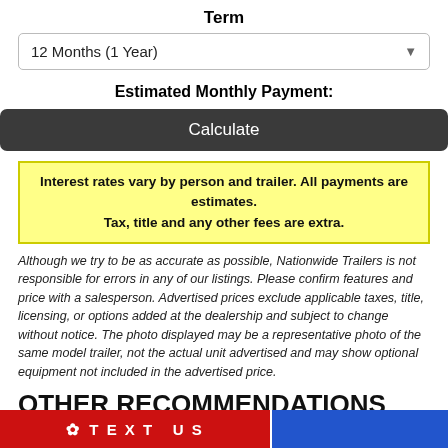Term
12 Months (1 Year)
Estimated Monthly Payment:
Calculate
Interest rates vary by person and trailer. All payments are estimates. Tax, title and any other fees are extra.
Although we try to be as accurate as possible, Nationwide Trailers is not responsible for errors in any of our listings. Please confirm features and price with a salesperson. Advertised prices exclude applicable taxes, title, licensing, or options added at the dealership and subject to change without notice. The photo displayed may be a representative photo of the same model trailer, not the actual unit advertised and may show optional equipment not included in the advertised price.
OTHER RECOMMENDATIONS
TEXT US